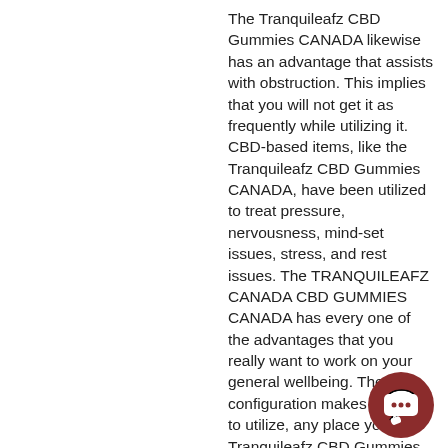The Tranquileafz CBD Gummies CANADA likewise has an advantage that assists with obstruction. This implies that you will not get it as frequently while utilizing it. CBD-based items, like the Tranquileafz CBD Gummies CANADA, have been utilized to treat pressure, nervousness, mind-set issues, stress, and rest issues. The TRANQUILEAFZ CANADA CBD GUMMIES CANADA has every one of the advantages that you really want to work on your general wellbeing. The case configuration makes it simple to utilize, any place you are.
Tranquileafz CBD Gummies CANADA doesn't contain psychoactive substances like THC and caffeine. It is along these lines non-affinity forming. It is a momentous thing in the event that you are searching for harmony and amicable in your repairing collaborations.
[Figure (illustration): Dark red circular chat bubble icon in the bottom right corner]